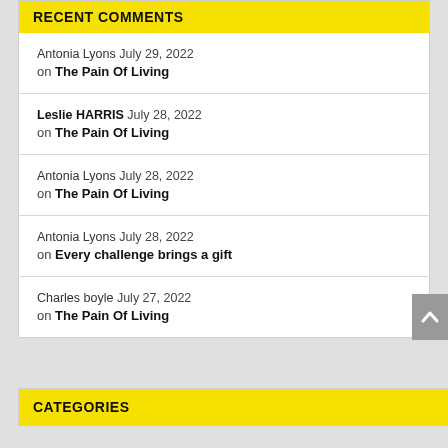RECENT COMMENTS
Antonia Lyons July 29, 2022 on The Pain Of Living
Leslie HARRIS July 28, 2022 on The Pain Of Living
Antonia Lyons July 28, 2022 on The Pain Of Living
Antonia Lyons July 28, 2022 on Every challenge brings a gift
Charles boyle July 27, 2022 on The Pain Of Living
CATEGORIES